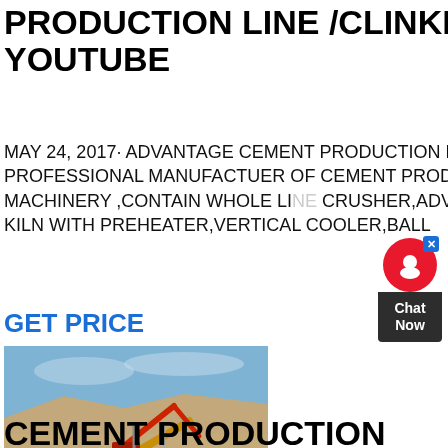PRODUCTION LINE /CLINKER YOUTUBE
MAY 24, 2017· ADVANTAGE CEMENT PRODUCTION LINE ,WE ARE PROFESSIONAL MANUFACTUER OF CEMENT PRODUCTION LINE MACHINERY ,CONTAIN WHOLE LINE CRUSHER,ADVANTAGE ROTARY KILN WITH PREHEATER,VERTICAL COOLER,BALL
GET PRICE
[Figure (photo): Outdoor photograph of yellow industrial mining/crushing machinery and equipment at a quarry or construction site under a blue sky with arid terrain.]
CEMENT PRODUCTION